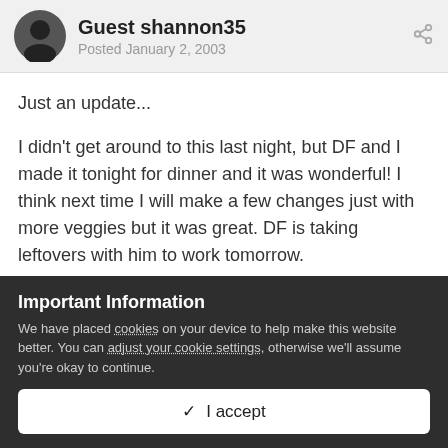Guest shannon35
Posted January 2, 2003
Just an update...
I didn't get around to this last night, but DF and I made it tonight for dinner and it was wonderful! I think next time I will make a few changes just with more veggies but it was great. DF is taking leftovers with him to work tomorrow.
Important Information
We have placed cookies on your device to help make this website better. You can adjust your cookie settings, otherwise we'll assume you're okay to continue.
✓  I accept